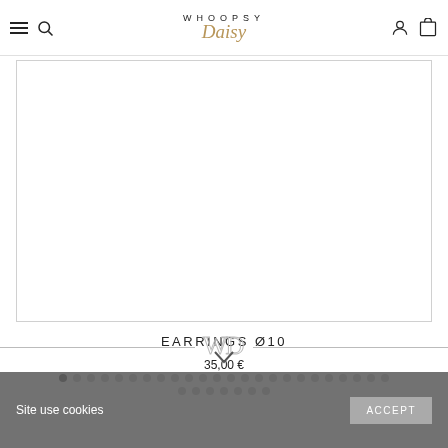WHOOPSY Daisy
[Figure (photo): Product image area for earrings, white background product card]
EARRINGS Ø10
35,00 €
[Figure (infographic): Pagination dots navigation - 31 dots total, first dot active/dark]
[Figure (logo): WD monogram logo with horizontal lines on either side]
Site use cookies
ACCEPT